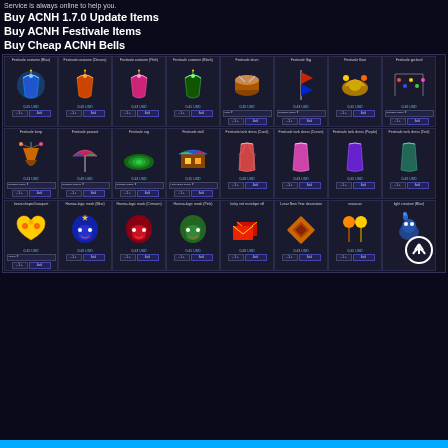Service is always online to help you.
Buy ACNH 1.7.0 Update Items
Buy ACNH Festivale Items
Buy Cheap ACNH Bells
[Figure (screenshot): Grid of ACNH Festivale items for sale, showing item images, prices in USD, color variant selectors, and Add to cart buttons. Items include Festivale costume (Blue), Festivale costume (Decora), Festivale costume (Pink), Festivale costume (Black), Festivale drum, Festivale flag, Festivale float, Festivale garland, Festivale lamp, Festivale parasol, Festivale rug, Festivale stall, Festivale tank dress (Coral), Festivale tank dress (Cream), Festivale tank dress (Purple), Festivale tank dress (Teal), heart-shaped bouquet, Hamsa-logic mask (Blue), Hamsa-logic mask (Crimson), Hamsa-logic mask (Pink), lucky red envelope x8, Lunar New Year decoration, maracas, light creature (Blue). Prices range from 0.40 USD to 0.45 USD.]